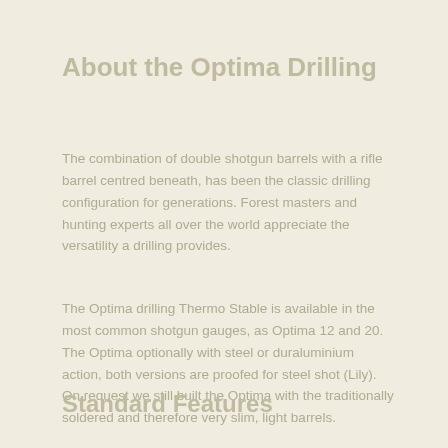About the Optima Drilling
The combination of double shotgun barrels with a rifle barrel centred beneath, has been the classic drilling configuration for generations. Forest masters and hunting experts all over the world appreciate the versatility a drilling provides.
The Optima drilling Thermo Stable is available in the most common shotgun gauges, as Optima 12 and 20. The Optima optionally with steel or duraluminium action, both versions are proofed for steel shot (Lily). On request we still built the Optima with the traditionally soldered and therefore very slim, light barrels.
Standard Features